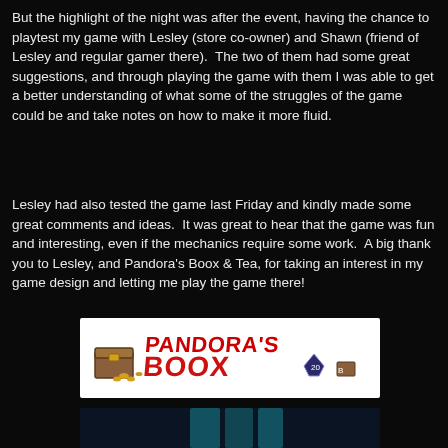But the highlight of the night was after the event, having the chance to playtest my game with Lesley (store co-owner) and Shawn (friend of Lesley and regular gamer there).  The two of them had some great suggestions, and through playing the game with them I was able to get a better understanding of what some of the struggles of the game could be and take notes on how to make it more fluid.
Lesley had also tested the game last Friday and kindly made some great comments and ideas.  It was great to hear that the game was fun and interesting, even if the mechanics require some work.  A big thank you to Lesley, and Pandora's Boox & Tea, for taking an interest in my game design and letting me play the game there!
[Figure (logo): Pandora's Boox logo — red stylized text reading PANDORA'S BOOX with a treasure chest illustration on a white background]
[Figure (photo): Partial photo visible at bottom — appears to be a game or event photo with teal/blue coloring on dark background]